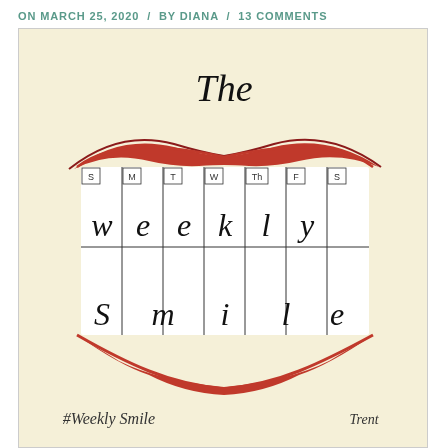ON MARCH 25, 2020 / BY DIANA / 13 COMMENTS
[Figure (illustration): An illustration titled 'The Weekly Smile' showing a smiling mouth with teeth arranged like a weekly calendar grid (S, M, T, W, Th, F, S columns). The letters 'Weekly Smile' are written across the teeth. Below the mouth: '#Weekly Smile' and a signature 'Trent'. Background is cream/light yellow.]